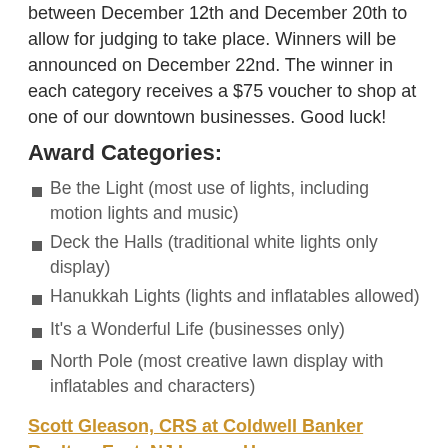between December 12th and December 20th to allow for judging to take place. Winners will be announced on December 22nd. The winner in each category receives a $75 voucher to shop at one of our downtown businesses. Good luck!
Award Categories:
Be the Light (most use of lights, including motion lights and music)
Deck the Halls (traditional white lights only display)
Hanukkah Lights (lights and inflatables allowed)
It's a Wonderful Life (businesses only)
North Pole (most creative lawn display with inflatables and characters)
Scott Gleason, CRS at Coldwell Banker Realty – East, NJ Luxury Homes